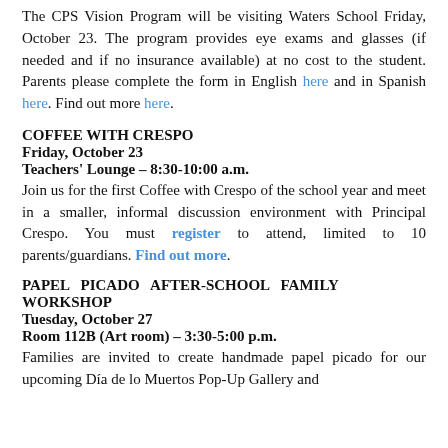The CPS Vision Program will be visiting Waters School Friday, October 23. The program provides eye exams and glasses (if needed and if no insurance available) at no cost to the student. Parents please complete the form in English here and in Spanish here. Find out more here.
COFFEE WITH CRESPO
Friday, October 23
Teachers' Lounge – 8:30-10:00 a.m.
Join us for the first Coffee with Crespo of the school year and meet in a smaller, informal discussion environment with Principal Crespo. You must register to attend, limited to 10 parents/guardians. Find out more.
PAPEL PICADO AFTER-SCHOOL FAMILY WORKSHOP
Tuesday, October 27
Room 112B (Art room) – 3:30-5:00 p.m.
Families are invited to create handmade papel picado for our upcoming Día de lo Muertos Pop-Up Gallery and